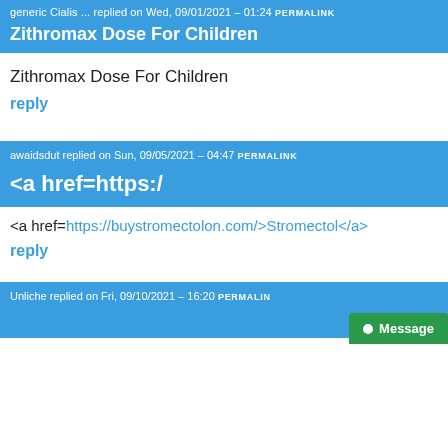generic Cialis ... replied on Wed, 09/01/2021 - 01:24 PERMALINK
Zithromax Dose For Children
Zithromax Dose For Children
reply
awaidsdut replied on Sun, 09/05/2021 - 04:47 PERMALINK
<a href=https:/
<a href=https://buystromectolon.com/>Stromectol</a>
reply
Unliche replied on Fri, 09/10/2021 - 16:20 PERMALINK